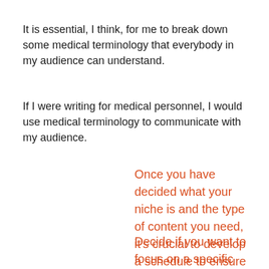It is essential, I think, for me to break down some medical terminology that everybody in my audience can understand.
If I were writing for medical personnel, I would use medical terminology to communicate with my audience.
Once you have decided what your niche is and the type of content you need, it’s crucial to develop a schedule to ensure it gets done.
Decide if you want to focus on a specific group of people or